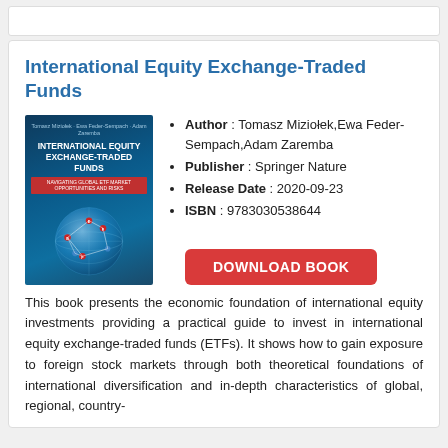International Equity Exchange-Traded Funds
[Figure (illustration): Book cover of 'International Equity Exchange-Traded Funds' by Tomasz Miziołek, Ewa Feder-Sempach, Adam Zaremba published by Springer Nature. Dark blue cover with a globe graphic and red dot markers.]
Author : Tomasz Miziołek,Ewa Feder-Sempach,Adam Zaremba
Publisher : Springer Nature
Release Date : 2020-09-23
ISBN : 9783030538644
DOWNLOAD BOOK
This book presents the economic foundation of international equity investments providing a practical guide to invest in international equity exchange-traded funds (ETFs). It shows how to gain exposure to foreign stock markets through both theoretical foundations of international diversification and in-depth characteristics of global, regional, country-